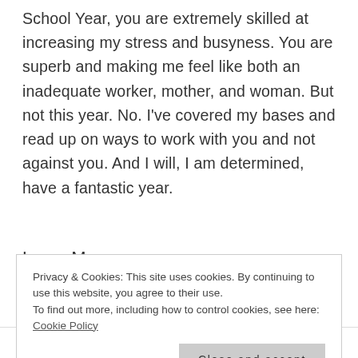School Year, you are extremely skilled at increasing my stress and busyness. You are superb and making me feel like both an inadequate worker, mother, and woman. But not this year. No. I've covered my bases and read up on ways to work with you and not against you. And I will, I am determined, have a fantastic year.
Love, Me
Privacy & Cookies: This site uses cookies. By continuing to use this website, you agree to their use.
To find out more, including how to control cookies, see here:
Cookie Policy
Close and accept
in Speech
Years Post-Stroke